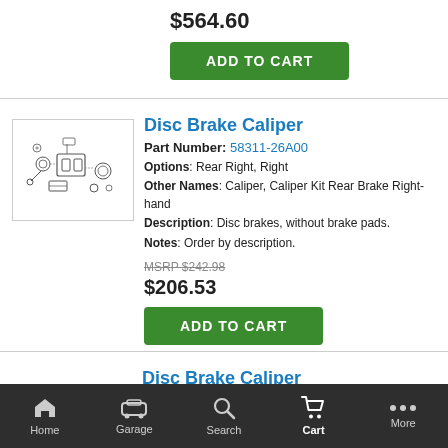$564.60
ADD TO CART
Disc Brake Caliper
Part Number: 58311-26A00
Options: Rear Right, Right
Other Names: Caliper, Caliper Kit Rear Brake Right-hand
Description: Disc brakes, without brake pads.
Notes: Order by description.
MSRP $242.98
$206.53
ADD TO CART
[Figure (illustration): Exploded view diagram of a disc brake caliper assembly showing components]
Disc Brake Caliper
[Figure (logo): Partial circular logo/emblem visible at bottom]
Home   Garage   Search   Cart   More